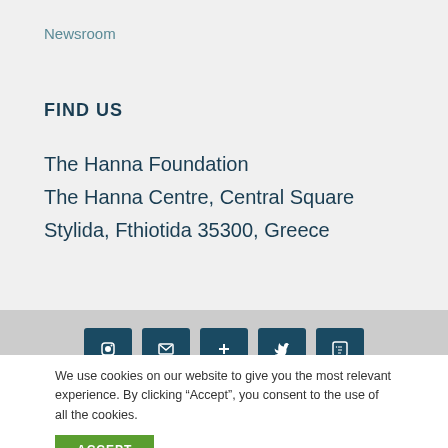Newsroom
FIND US
The Hanna Foundation
The Hanna Centre, Central Square
Stylida, Fthiotida 35300, Greece
[Figure (other): Row of five dark teal/navy social media icon buttons partially visible at the bottom of a gray band]
We use cookies on our website to give you the most relevant experience. By clicking “Accept”, you consent to the use of all the cookies.
ACCEPT